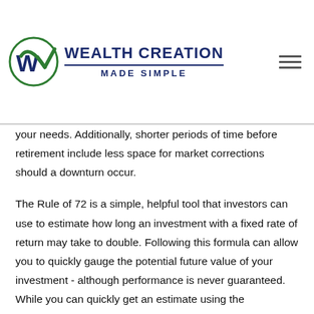WEALTH CREATION MADE SIMPLE
your needs. Additionally, shorter periods of time before retirement include less space for market corrections should a downturn occur.
The Rule of 72 is a simple, helpful tool that investors can use to estimate how long an investment with a fixed rate of return may take to double. Following this formula can allow you to quickly gauge the potential future value of your investment - although performance is never guaranteed. While you can quickly get an estimate using the